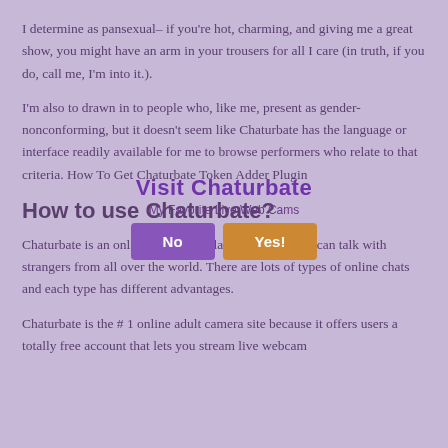I determine as pansexual– if you're hot, charming, and giving me a great show, you might have an arm in your trousers for all I care (in truth, if you do, call me, I'm into it.).
I'm also to drawn in to people who, like me, present as gender-nonconforming, but it doesn't seem like Chaturbate has the language or interface readily available for me to browse performers who relate to that criteria. How To Get Chaturbate Token Adder Plugin
[Figure (other): Popup overlay with 'Visit Chaturbate' link, 'My Favorite Live Web Cams' subtitle, and two buttons: 'No' (purple) and 'Yes!' (orange)]
How to use Chaturbate?
Chaturbate is an online streaming platform where you can talk with strangers from all over the world. There are lots of types of online chats and each type has different advantages.
Chaturbate is the # 1 online adult camera site because it offers users a totally free account that lets you stream live webcam